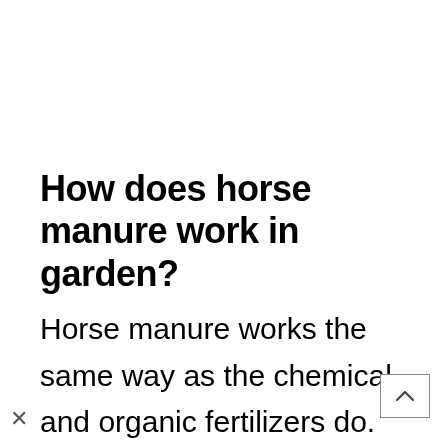How does horse manure work in garden?
Horse manure works the same way as the chemical and organic fertilizers do. The organic matter is added to the soil and it begins